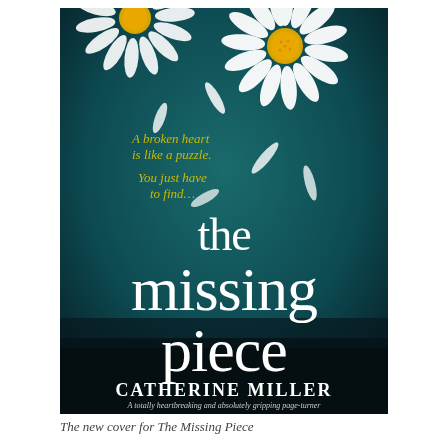[Figure (illustration): Book cover of 'The Missing Piece' by Catherine Miller. Dark teal/green background with two white daisy flowers at the top. Scattered white petals float on the background. Yellow italic text reads 'A broken heart is like a puzzle.' and 'You just have to find...' in the upper left. Large white serif lowercase text reads 'the missing piece' in the center. Author name 'CATHERINE MILLER' in large white capitals at the bottom, with tagline 'A totally heartbreaking and absolutely gripping page-turner' beneath it in smaller text.]
The new cover for The Missing Piece